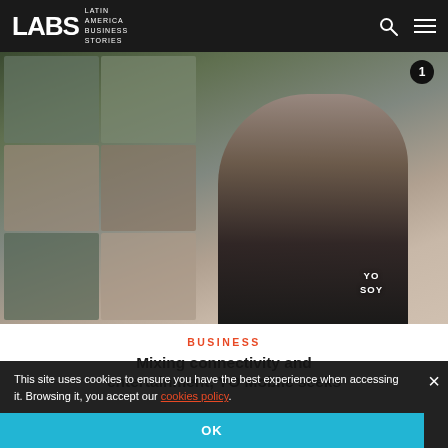LABS LATIN AMERICA BUSINESS STORIES
[Figure (photo): Man in black shirt standing in front of a display board with photos and labels; the shirt reads YO SOY]
BUSINESS
Mixing connectivity and entertainment, YO Mobile seeks
This site uses cookies to ensure you have the best experience when accessing it. Browsing it, you accept our cookies policy.
OK